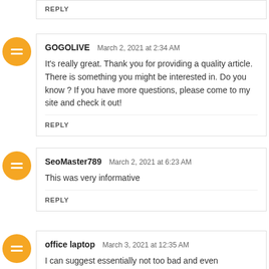REPLY
GOGOLIVE  March 2, 2021 at 2:34 AM
It's really great. Thank you for providing a quality article. There is something you might be interested in. Do you know 바카라사이트? If you have more questions, please come to my site and check it out!
REPLY
SeoMaster789  March 2, 2021 at 6:23 AM
This was very informative 바카라
REPLY
office laptop  March 3, 2021 at 12:35 AM
I can suggest essentially not too bad and even